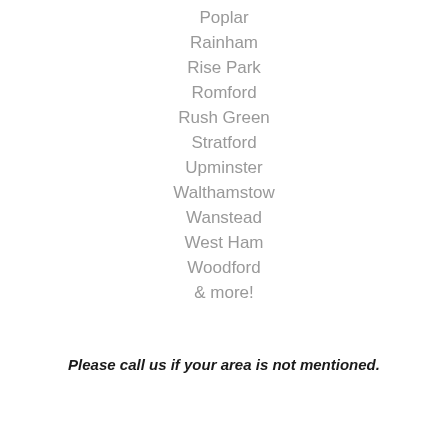Poplar
Rainham
Rise Park
Romford
Rush Green
Stratford
Upminster
Walthamstow
Wanstead
West Ham
Woodford
& more!
Please call us if your area is not mentioned.